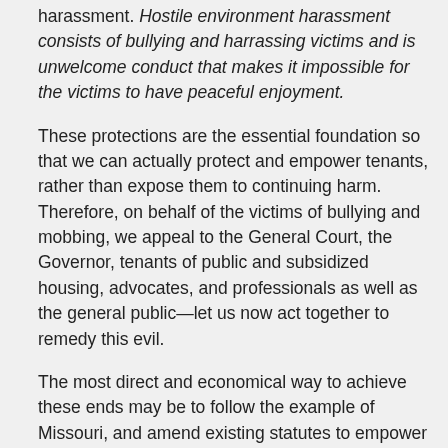harassment. Hostile environment harassment consists of bullying and harrassing victims and is unwelcome conduct that makes it impossible for the victims to have peaceful enjoyment.
These protections are the essential foundation so that we can actually protect and empower tenants, rather than expose them to continuing harm. Therefore, on behalf of the victims of bullying and mobbing, we appeal to the General Court, the Governor, tenants of public and subsidized housing, advocates, and professionals as well as the general public—let us now act together to remedy this evil.
The most direct and economical way to achieve these ends may be to follow the example of Missouri, and amend existing statutes to empower one or more existing agencies to investigate and remedy the situation in response to complaints by victims. We therefore propose to define bullying, mobbing, and hostile environment harassment as illegal and to require existing agencies to act accordingly to protect residents who are targets of